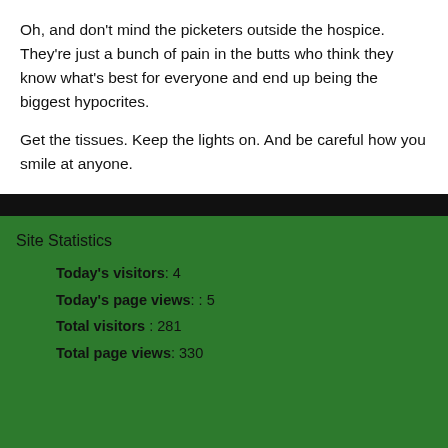Oh, and don’t mind the picketers outside the hospice. They’re just a bunch of pain in the butts who think they know what’s best for everyone and end up being the biggest hypocrites.
Get the tissues. Keep the lights on. And be careful how you smile at anyone.
Site Statistics
| Today’s visitors: | 4 |
| Today’s page views: | : 5 |
| Total visitors | : 281 |
| Total page views: | 330 |